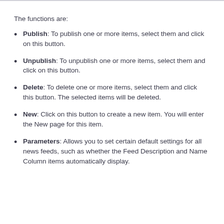The functions are:
Publish: To publish one or more items, select them and click on this button.
Unpublish: To unpublish one or more items, select them and click on this button.
Delete: To delete one or more items, select them and click this button. The selected items will be deleted.
New: Click on this button to create a new item. You will enter the New page for this item.
Parameters: Allows you to set certain default settings for all news feeds, such as whether the Feed Description and Name Column items automatically display.